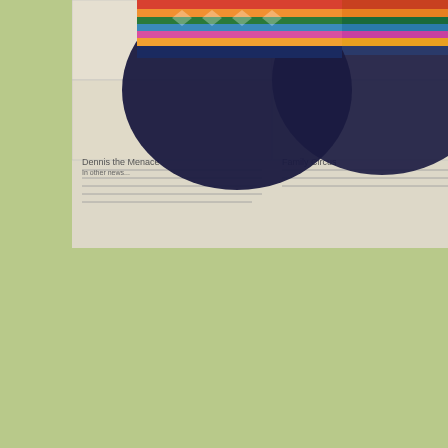[Figure (photo): Colorful knitted socks with multicolor pattern on top and dark navy blue toes/heels, laid on newspaper comics pages]
Published by lizzieknitzz
View all posts by lizzieknitzz
[Figure (logo): Circular geometric logo with white diamond/triangle pattern on light green background]
< IMG_4682